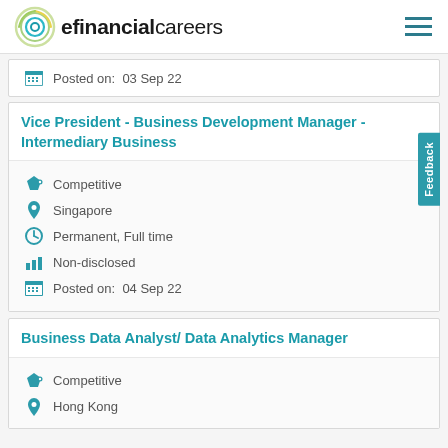efinancialcareers
Posted on:  03 Sep 22
Vice President - Business Development Manager - Intermediary Business
Competitive
Singapore
Permanent, Full time
Non-disclosed
Posted on:  04 Sep 22
Business Data Analyst/ Data Analytics Manager
Competitive
Hong Kong